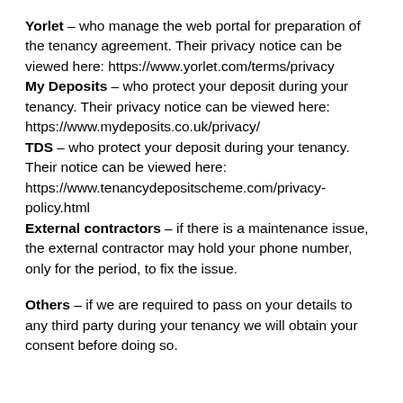Yorlet – who manage the web portal for preparation of the tenancy agreement. Their privacy notice can be viewed here: https://www.yorlet.com/terms/privacy
My Deposits – who protect your deposit during your tenancy. Their privacy notice can be viewed here: https://www.mydeposits.co.uk/privacy/
TDS – who protect your deposit during your tenancy. Their notice can be viewed here: https://www.tenancydepositscheme.com/privacy-policy.html
External contractors – if there is a maintenance issue, the external contractor may hold your phone number, only for the period, to fix the issue.
Others – if we are required to pass on your details to any third party during your tenancy we will obtain your consent before doing so.